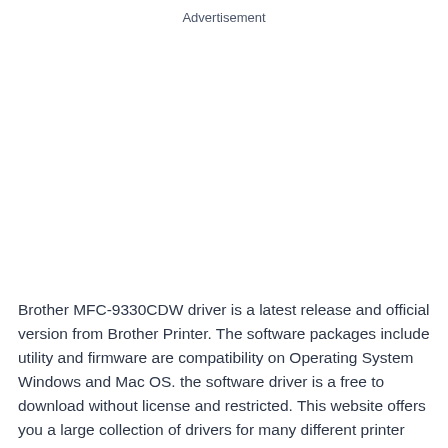Advertisement
Brother MFC-9330CDW driver is a latest release and official version from Brother Printer. The software packages include utility and firmware are compatibility on Operating System Windows and Mac OS. the software driver is a free to download without license and restricted. This website offers you a large collection of drivers for many different printer models from Brother. You only have to find the Brother Printer model that you have, choose your current